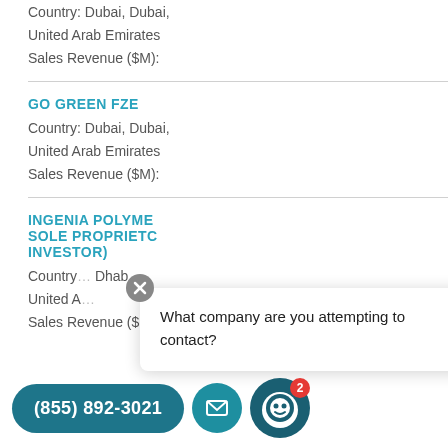Country: Dubai, Dubai,
United Arab Emirates
Sales Revenue ($M):
GO GREEN FZE
Country: Dubai, Dubai,
United Arab Emirates
Sales Revenue ($M):
INGENIA POLYMERS (SOLE PROPRIETOR INVESTOR)
Country: Abu Dhabi,
United Arab Emirates
Sales Revenue ($M):
What company are you attempting to contact?
(855) 892-3021